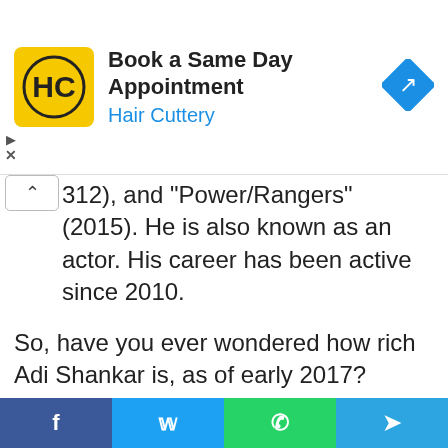[Figure (screenshot): Hair Cuttery advertisement banner with logo, text 'Book a Same Day Appointment', 'Hair Cuttery', and a blue navigation arrow icon]
312), and 'Power/Rangers' (2015). He is also known as an actor. His career has been active since 2010.
So, have you ever wondered how rich Adi Shankar is, as of early 2017? According to authoritative sources, it has been estimated that the total size of Adi's net worth is over $500,000. The main source of this amount of money has been accumulated through his successful involvement in the film industry, not only as a producer, but also as an actor.
[Figure (screenshot): Social media share bar with Facebook, Twitter, WhatsApp, and Telegram buttons]